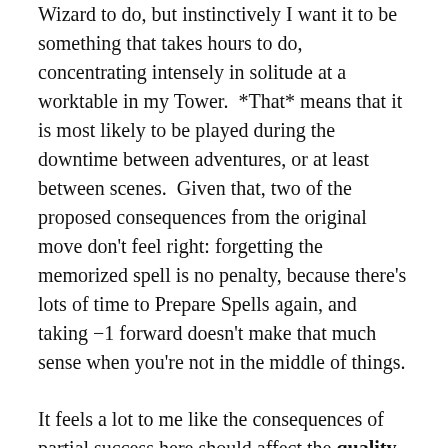Wizard to do, but instinctively I want it to be something that takes hours to do, concentrating intensely in solitude at a worktable in my Tower.  *That* means that it is most likely to be played during the downtime between adventures, or at least between scenes.  Given that, two of the proposed consequences from the original move don't feel right: forgetting the memorized spell is no penalty, because there's lots of time to Prepare Spells again, and taking −1 forward doesn't make that much sense when you're not in the middle of things.
It feels a lot to me like the consequences of partial success here should affect the quality of the scroll, not the current state of the Wizard